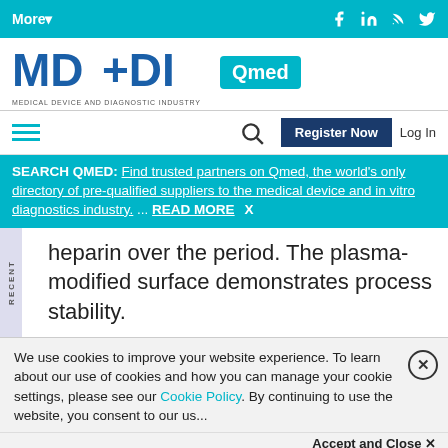More▾
[Figure (logo): MD+DI Qmed logo - Medical Device and Diagnostic Industry]
Register Now  Log In
SEARCH QMED: Find trusted partners on Qmed, the world's only directory of pre-qualified suppliers to the medical device and in vitro diagnostics industry. ... READ MORE X
heparin over the period. The plasma-modified surface demonstrates process stability.
We use cookies to improve your website experience. To learn about our use of cookies and how you can manage your cookie settings, please see our Cookie Policy. By continuing to use the website, you consent to our use...
Accept and Close ✕
Your browser settings do not allow cross-site tracking for advertising. Click on this page to allow AdRoll to use cross-site tracking to tailor ads to you. Learn more or opt out of this AdRoll tracking by clicking here. This message only appears once.